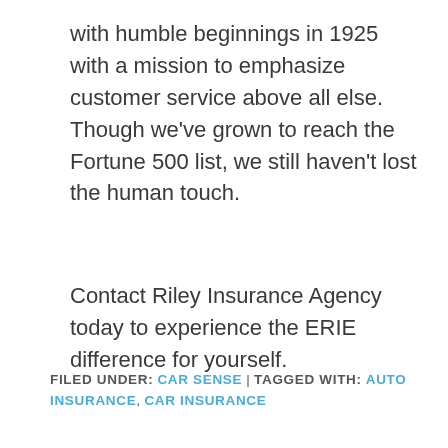with humble beginnings in 1925 with a mission to emphasize customer service above all else. Though we've grown to reach the Fortune 500 list, we still haven't lost the human touch.
Contact Riley Insurance Agency today to experience the ERIE difference for yourself.
FILED UNDER: CAR SENSE | TAGGED WITH: AUTO INSURANCE, CAR INSURANCE